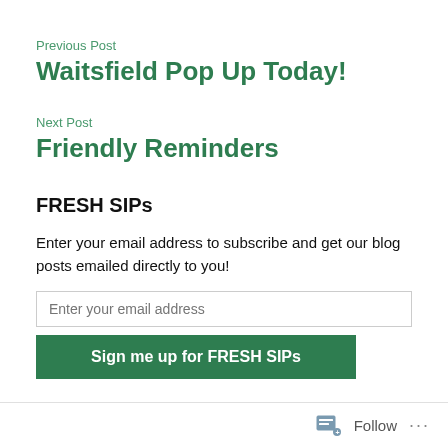Previous Post
Waitsfield Pop Up Today!
Next Post
Friendly Reminders
FRESH SIPs
Enter your email address to subscribe and get our blog posts emailed directly to you!
Enter your email address
Sign me up for FRESH SIPs
Follow ...